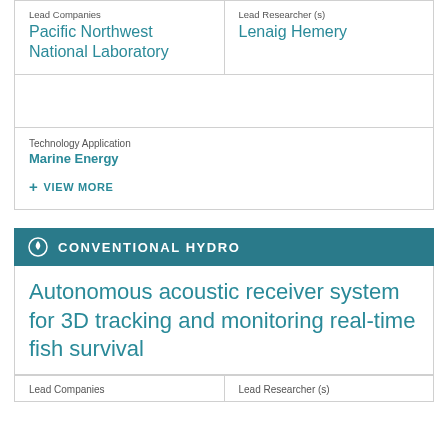Lead Companies
Pacific Northwest National Laboratory
Lead Researcher (s)
Lenaig Hemery
Technology Application
Marine Energy
+ VIEW MORE
CONVENTIONAL HYDRO
Autonomous acoustic receiver system for 3D tracking and monitoring real-time fish survival
Lead Companies
Lead Researcher (s)